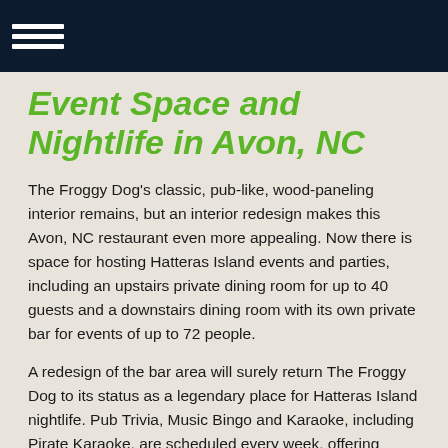Event Space and Nightlife in Avon, NC
The Froggy Dog's classic, pub-like, wood-paneling interior remains, but an interior redesign makes this Avon, NC restaurant even more appealing. Now there is space for hosting Hatteras Island events and parties, including an upstairs private dining room for up to 40 guests and a downstairs dining room with its own private bar for events of up to 72 people.
A redesign of the bar area will surely return The Froggy Dog to its status as a legendary place for Hatteras Island nightlife. Pub Trivia, Music Bingo and Karaoke, including Pirate Karaoke, are scheduled every week, offering adults something fun to do after 9 p.m. in Avon. With 13 TVs, a sports package, a late-night menu and an extensive selection of wines and craft beers, the bar is the spot for